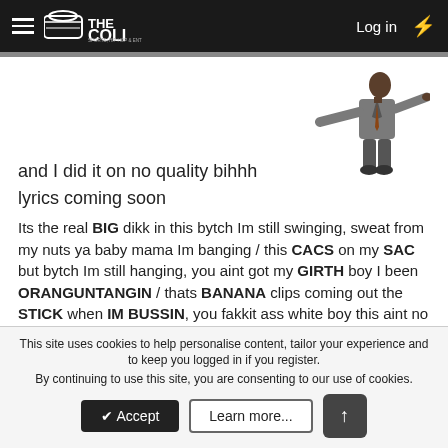THE COLI — Sports, Hip Hop & Entertainment | Log in
and I did it on no quality bihhh
lyrics coming soon
Its the real BIG dikk in this bytch Im still swinging, sweat from my nuts ya baby mama Im banging / this CACS on my SAC but bytch Im still hanging, you aint got my GIRTH boy I been ORANGUNTANGIN / thats BANANA clips coming out the STICK when IM BUSSIN, you fakkit ass white boy this aint no discussion / competition or noting, this gotta be a joke tell the mods to bring @Clutch Robinson in, my
This site uses cookies to help personalise content, tailor your experience and to keep you logged in if you register.
By continuing to use this site, you are consenting to our use of cookies.